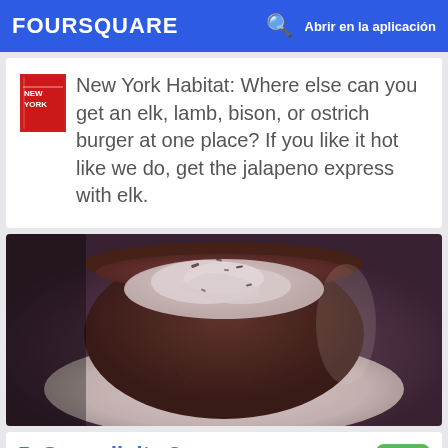FOURSQUARE  Abrir en la aplicación
New York Habitat: Where else can you get an elk, lamb, bison, or ostrich burger at one place? If you like it hot like we do, get the jalapeno express with elk.
[Figure (photo): Close-up photo of a hot chocolate or mocha drink in a dark ceramic cup on a white plate, topped with whipped cream and chocolate shavings, with a warm vintage filter applied.]
5. Serendipity 3
225 E 60th St (btwn 2nd & 3rd Ave), Nueva York,